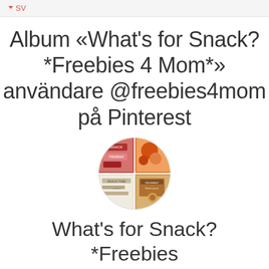SV
Album «What's for Snack? *Freebies 4 Mom*» användare @freebies4mom på Pinterest
[Figure (illustration): Circular Pinterest board thumbnail divided into four quadrants showing food images — snack and recipe photos]
What's for Snack? *Freebies 4 Mom*
Bilder: 329 Följare: 19465
Heather Hernandez loves to share free samples, giveaways